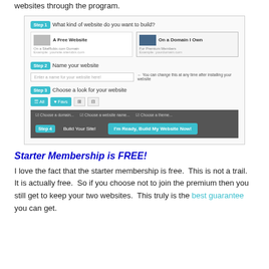websites through the program.
[Figure (screenshot): A 4-step website builder interface showing Step 1: What kind of website do you want to build? (A Free Website / On a Domain I Own options), Step 2: Name your website (text input), Step 3: Choose a look for your website (All/Favs/grid buttons), and Step 4: Build Your Site! with 'I'm Ready, Build My Website Now!' button on a dark bar.]
Starter Membership is FREE!
I love the fact that the starter membership is free.  This is not a trail.  It is actually free.  So if you choose not to join the premium then you still get to keep your two websites.  This truly is the best guarantee you can get.